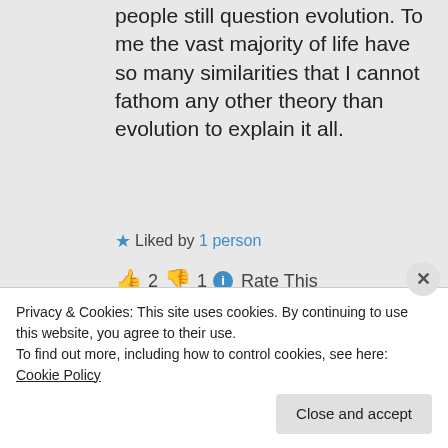people still question evolution. To me the vast majority of life have so many similarities that I cannot fathom any other theory than evolution to explain it all.
★ Liked by 1 person
👍 2 👎 1 ℹ Rate This
Privacy & Cookies: This site uses cookies. By continuing to use this website, you agree to their use.
To find out more, including how to control cookies, see here: Cookie Policy
Close and accept